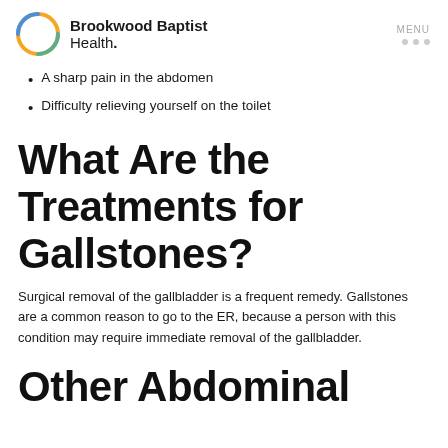Brookwood Baptist Health.
A sharp pain in the abdomen
Difficulty relieving yourself on the toilet
What Are the Treatments for Gallstones?
Surgical removal of the gallbladder is a frequent remedy. Gallstones are a common reason to go to the ER, because a person with this condition may require immediate removal of the gallbladder.
Other Abdominal